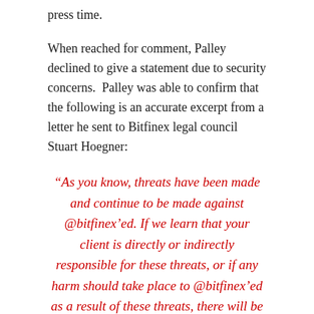press time.
When reached for comment, Palley declined to give a statement due to security concerns.  Palley was able to confirm that the following is an accurate excerpt from a letter he sent to Bitfinex legal council Stuart Hoegner:
“As you know, threats have been made and continue to be made against @bitfinex’ed. If we learn that your client is directly or indirectly responsible for these threats, or if any harm should take place to @bitfinex’ed as a result of these threats, there will be legal consequences.”
Neither Bitfinex nor Hoegner had responded to requests